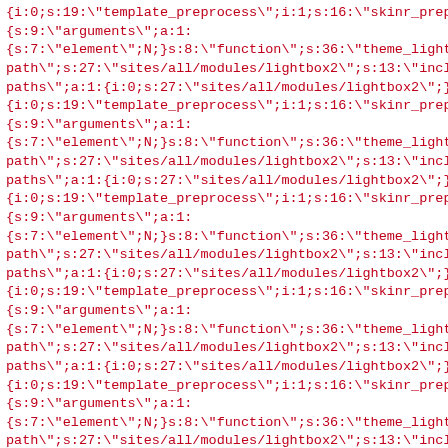serialized PHP/Drupal data structures repeated multiple times showing theme_lightbox2_formatter function references with template_preprocess and skinr_preprocess arguments and sites/all/modules/lightbox2 paths